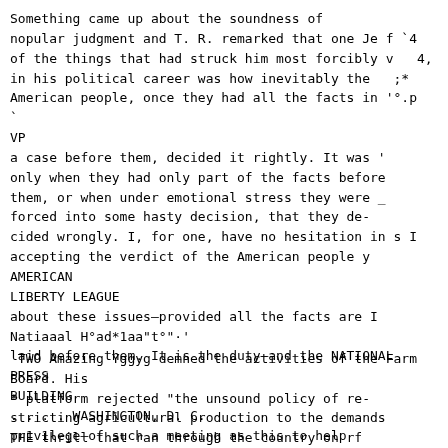Something came up about the soundness of
nopular judgment and T. R. remarked that one Je f `4
of the things that had struck him most forcibly v   4,
in his political career was how inevitably the   ;*
American people, once they had all the facts in '°.p  `
VP
a case before them, decided it rightly. It was '
only when they had only part of the facts before
them, or when under emotional stress they were _
forced into some hasty decision, that they de-
cided wrongly. I, for one, have no hesitation in s I
accepting the verdict of the American people y AMERICAN
LIBERTY LEAGUE
about these issues—provided all the facts are I
Natiaaal H°ad*1aa"t°"·'
laid before them. It is the duty—and the NATIONAL PRESS
BUILDING
. . . . WASHINGTON, D. C.
pr1v1lege—of such a meeting as this to help
marshall the facts for the people. * *
16 ............................._ .........
........................ ».. 
Document No. 49
TWO Amazing Yggyg demned the activities of the Farm
Board. His
* platform rejected "the unsound policy of re-
stricting agricultural production to the demands
THE thrill that ran through the country on rf domfzstlc
markets}, H8 advocnrnd rstrict and